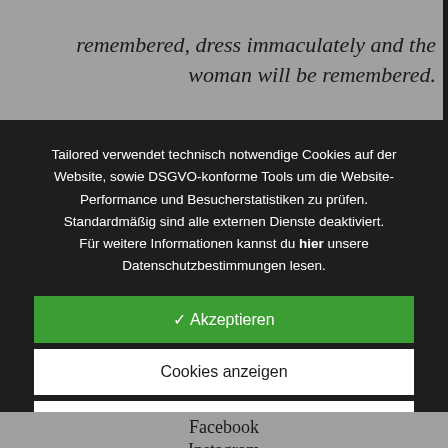remembered, dress immaculately and the woman will be remembered.
Tailored verwendet technisch notwendige Cookies auf der Website, sowie DSGVO-konforme Tools um die Website-Performance und Besucherstatistiken zu prüfen. Standardmäßig sind alle externen Dienste deaktiviert. Für weitere Informationen kannst du hier unsere Datenschutzbestimmungen lesen.
✓ Akzeptieren
Cookies anzeigen
× Ablehnen
Facebook
Instagram